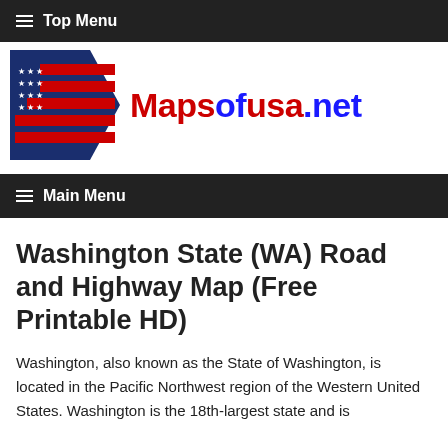≡ Top Menu
[Figure (logo): Mapsofusa.net logo with American flag graphic on left and red/blue text on right]
≡ Main Menu
Washington State (WA) Road and Highway Map (Free Printable HD)
Washington, also known as the State of Washington, is located in the Pacific Northwest region of the Western United States. Washington is the 18th-largest state and is